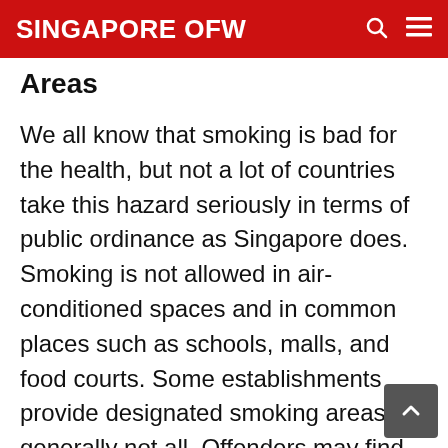SINGAPORE OFW
Areas
We all know that smoking is bad for the health, but not a lot of countries take this hazard seriously in terms of public ordinance as Singapore does. Smoking is not allowed in air-conditioned spaces and in common places such as schools, malls, and food courts. Some establishments provide designated smoking areas but generally not all. Offenders may find themselves surprised at how